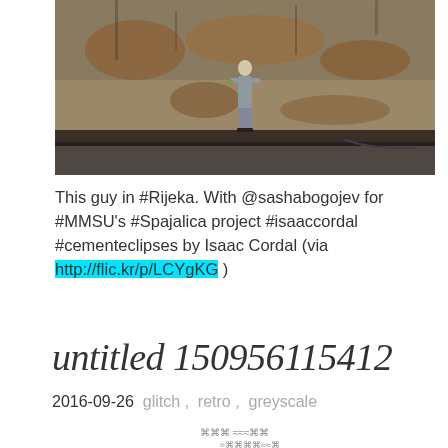[Figure (photo): A small figure of a person in gray suit standing on a ledge of a weathered, rust-stained concrete or metal building wall with peeling paint]
This guy in #Rijeka. With @sashabogojev for #MMSU's #Spajalica project #isaaccordal #cementeclipses by Isaac Cordal (via http://flic.kr/p/LCYgKG )
untitled 150956115412
2016-09-26  glitch ,  retro ,  greyscale
[Figure (illustration): Small glitch/retro style illustration at the bottom of the page]